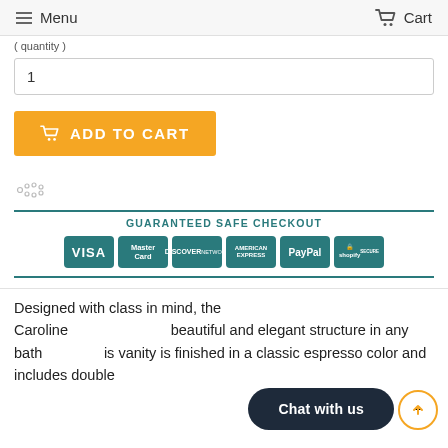Menu   Cart
( quantity )
1
[Figure (other): Orange 'Add to Cart' button with cart icon]
[Figure (other): Loading spinner dots]
[Figure (other): Guaranteed SAFE Checkout banner with payment logos: VISA, MasterCard, DISCOVER, AMERICAN EXPRESS, PayPal, Shopify]
Designed with class in mind, the Caroline beautiful and elegant structure in any bath is vanity is finished in a classic espresso color and includes double
[Figure (other): Chat with us dark pill-shaped button overlay]